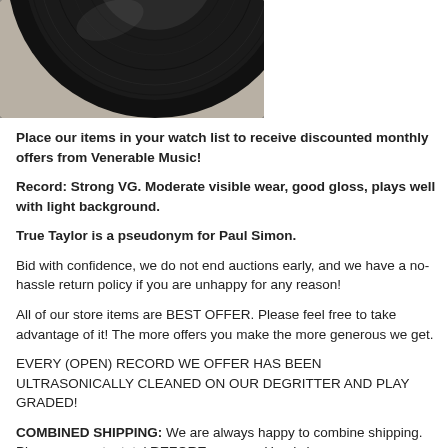[Figure (photo): Partial view of a black vinyl record on a light/cream background]
Place our items in your watch list to receive discounted monthly offers from Venerable Music!
Record: Strong VG. Moderate visible wear, good gloss, plays well with light background.
True Taylor is a pseudonym for Paul Simon.
Bid with confidence, we do not end auctions early, and we have a no-hassle return policy if you are unhappy for any reason!
All of our store items are BEST OFFER. Please feel free to take advantage of it! The more offers you make the more generous we get.
EVERY (OPEN) RECORD WE OFFER HAS BEEN ULTRASONICALLY CLEANED ON OUR DEGRITTER AND PLAY GRADED!
COMBINED SHIPPING: We are always happy to combine shipping. Please request a total BEFORE you pay. Here's how: